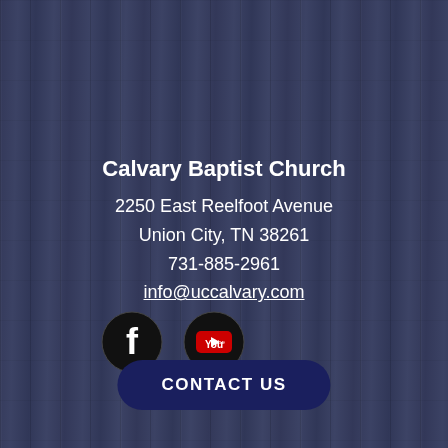Calvary Baptist Church
2250 East Reelfoot Avenue
Union City, TN 38261
731-885-2961
info@uccalvary.com
[Figure (illustration): Facebook icon - black circle with white F logo]
[Figure (illustration): YouTube icon - black circle with white YouTube logo]
CONTACT US